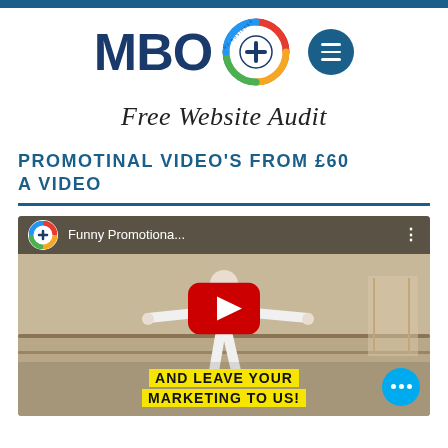[Figure (logo): MBO My Business Online logo with colorful circle icon and hamburger menu button]
Free Website Audit
PROMOTINAL VIDEO'S FROM £60 A VIDEO
[Figure (screenshot): YouTube video thumbnail showing a man with arms outstretched in a dance studio. Title reads 'Funny Promotiona...' with MBO channel icon. Bottom overlay text says 'AND LEAVE YOUR MARKETING TO US!' in yellow. Blue chat bubble with three dots in bottom right corner.]